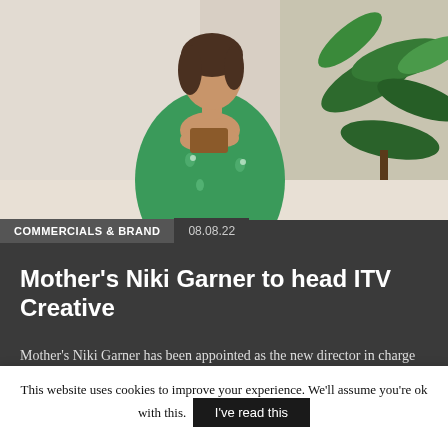[Figure (photo): Person wearing a green floral dress seated near houseplants, upper body visible]
COMMERCIALS & BRAND   08.08.22
Mother's Niki Garner to head ITV Creative
Mother's Niki Garner has been appointed as the new director in charge of ITV's in-house advertising agency, ITV Creative. She takes on the role following
This website uses cookies to improve your experience. We'll assume you're ok with this.  I've read this